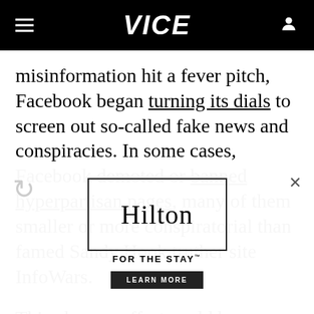VICE
misinformation hit a fever pitch, Facebook began turning its dials to screen out so-called fake news and conspiracies. In some cases, Facebook demoted or banned hyperpartisan pages, many of them smaller or more conspiratorial than famed Sandy Hook truther site InfoWars.

This cleanup effort could be inadvertently
[Figure (other): Hilton FOR THE STAY advertisement with LEARN MORE button and close/refresh icons overlay]